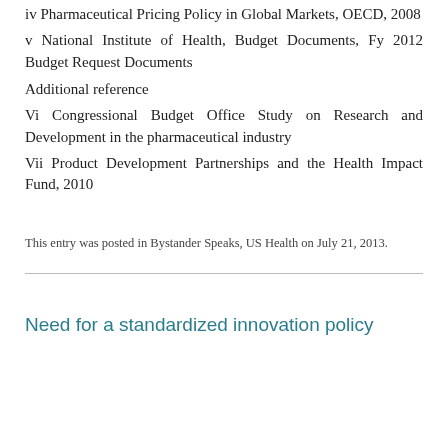iv Pharmaceutical Pricing Policy in Global Markets, OECD, 2008
v National Institute of Health, Budget Documents, Fy 2012 Budget Request Documents
Additional reference
Vi Congressional Budget Office Study on Research and Development in the pharmaceutical industry
Vii Product Development Partnerships and the Health Impact Fund, 2010
This entry was posted in Bystander Speaks, US Health on July 21, 2013.
Need for a standardized innovation policy